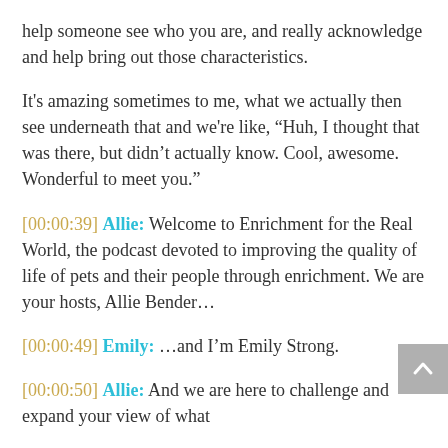help someone see who you are, and really acknowledge and help bring out those characteristics.
It's amazing sometimes to me, what we actually then see underneath that and we're like, “Huh, I thought that was there, but didn’t actually know. Cool, awesome. Wonderful to meet you.”
[00:00:39] Allie: Welcome to Enrichment for the Real World, the podcast devoted to improving the quality of life of pets and their people through enrichment. We are your hosts, Allie Bender…
[00:00:49] Emily: …and I’m Emily Strong.
[00:00:50] Allie: And we are here to challenge and expand your view of what